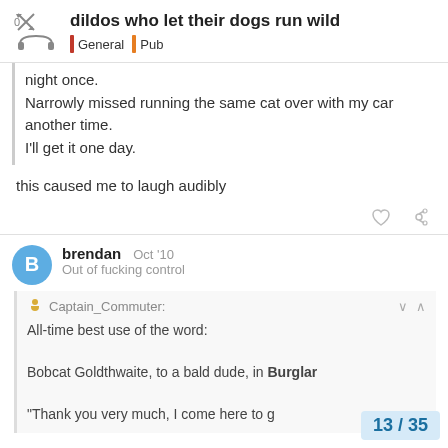dildos who let their dogs run wild | General | Pub
night once.
Narrowly missed running the same cat over with my car another time.
I'll get it one day.
this caused me to laugh audibly
brendan  Oct '10
Out of fucking control
Captain_Commuter:
All-time best use of the word:
Bobcat Goldthwaite, to a bald dude, in Burglar
"Thank you very much, I come here to g
13 / 35